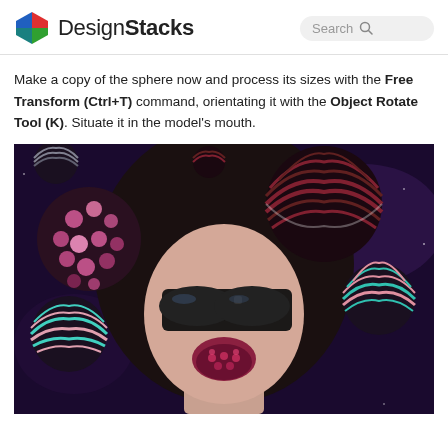DesignStacks
Make a copy of the sphere now and process its sizes with the Free Transform (Ctrl+T) command, orientating it with the Object Rotate Tool (K). Situate it in the model’s mouth.
[Figure (photo): A woman's face with dark hair and sunglasses in an artistic photo, surrounded by decorative striped spheres in red, pink, teal and dark tones against a dark/purple background. She has a sphere resting near her open lips which appear to have a dotted/textured lipstick finish.]